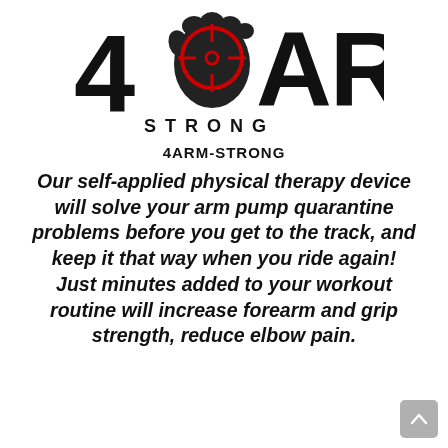[Figure (logo): 4ARM STRONG logo: large bold black '4' and 'ARM' text with a red crosshair/target circle overlapping the '0' area and a black fist/arm silhouette, with 'STRONG' in spaced capitals below]
4ARM-STRONG
Our self-applied physical therapy device will solve your arm pump quarantine problems before you get to the track, and keep it that way when you ride again! Just minutes added to your workout routine will increase forearm and grip strength, reduce elbow pain.